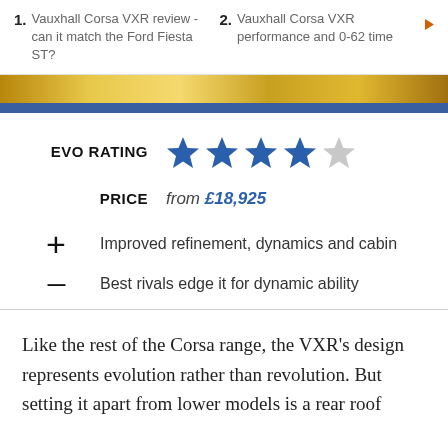1. Vauxhall Corsa VXR review - can it match the Ford Fiesta ST?
2. Vauxhall Corsa VXR performance and 0-62 time
[Figure (photo): Golden/blue banner image strip at top]
EVO RATING ★★★★☆
PRICE from £18,925
+ Improved refinement, dynamics and cabin
— Best rivals edge it for dynamic ability
Like the rest of the Corsa range, the VXR's design represents evolution rather than revolution. But setting it apart from lower models is a rear roof